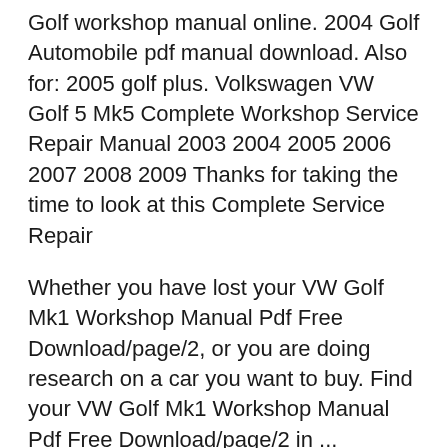Golf workshop manual online. 2004 Golf Automobile pdf manual download. Also for: 2005 golf plus. Volkswagen VW Golf 5 Mk5 Complete Workshop Service Repair Manual 2003 2004 2005 2006 2007 2008 2009 Thanks for taking the time to look at this Complete Service Repair
Whether you have lost your VW Golf Mk1 Workshop Manual Pdf Free Download/page/2, or you are doing research on a car you want to buy. Find your VW Golf Mk1 Workshop Manual Pdf Free Download/page/2 in ... 15/07/2019 · Download Factory Repair Manual Vw Golf Mk5 - book pdf free download link or read online here in